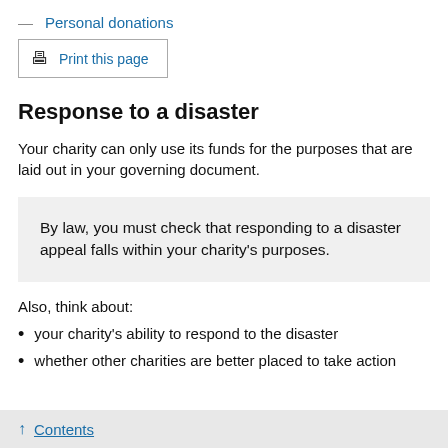— Personal donations
[Figure (other): Print this page button with printer icon]
Response to a disaster
Your charity can only use its funds for the purposes that are laid out in your governing document.
By law, you must check that responding to a disaster appeal falls within your charity's purposes.
Also, think about:
your charity's ability to respond to the disaster
whether other charities are better placed to take action
↑ Contents